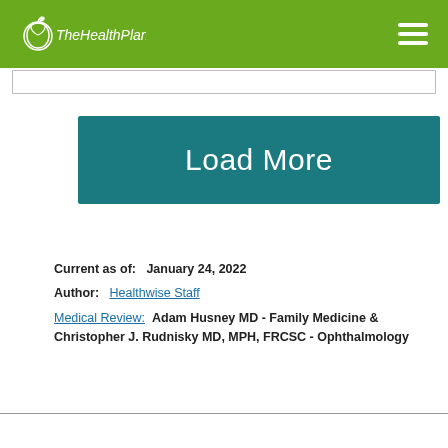The Health Plan
[Figure (other): Search bar input field]
[Figure (other): Load More button with teal background]
Current as of: January 24, 2022
Author: Healthwise Staff
Medical Review: Adam Husney MD - Family Medicine & Christopher J. Rudnisky MD, MPH, FRCSC - Ophthalmology